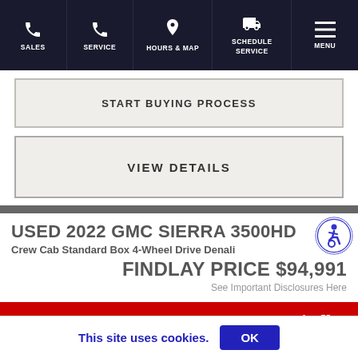SALES | SERVICE | HOURS & MAP | SCHEDULE SERVICE | MENU
START BUYING PROCESS
VIEW DETAILS
USED 2022 GMC SIERRA 3500HD
Crew Cab Standard Box 4-Wheel Drive Denali
FINDLAY PRICE $94,991
See Important Disclosures Here
[Figure (logo): Findlay Prescott dealership logo on red/grey background]
This site uses cookies.  OK